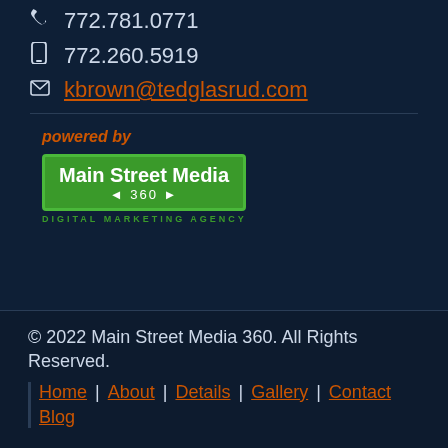772.781.0771
772.260.5919
kbrown@tedglasrud.com
powered by
[Figure (logo): Main Street Media 360 Digital Marketing Agency logo — green rectangle with white bold text]
© 2022 Main Street Media 360. All Rights Reserved. Home | About | Details | Gallery | Contact | Blog